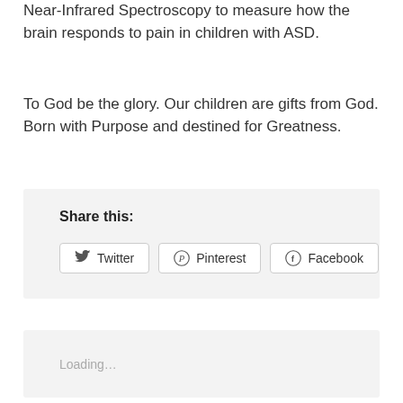Near-Infrared Spectroscopy to measure how the brain responds to pain in children with ASD.
To God be the glory. Our children are gifts from God. Born with Purpose and destined for Greatness.
[Figure (other): Share this section with buttons for Twitter, Pinterest, and Facebook social media platforms]
Loading…